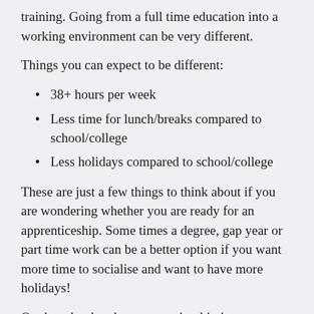training. Going from a full time education into a working environment can be very different.
Things you can expect to be different:
38+ hours per week
Less time for lunch/breaks compared to school/college
Less holidays compared to school/college
These are just a few things to think about if you are wondering whether you are ready for an apprenticeship. Some times a degree, gap year or part time work can be a better option if you want more time to socialise and want to have more holidays!
On the other hand, an apprenticeship is a great way to get your ‘foot in the door’. If you are a highly motivated